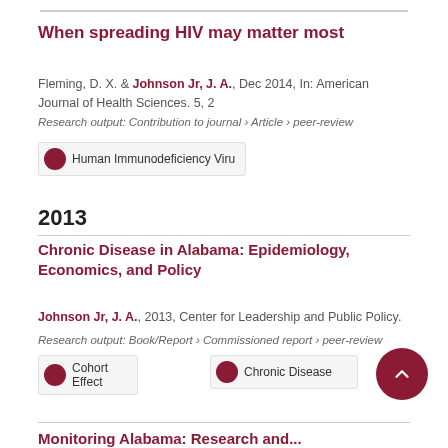When spreading HIV may matter most
Fleming, D. X. & Johnson Jr, J. A., Dec 2014, In: American Journal of Health Sciences. 5, 2
Research output: Contribution to journal › Article › peer-review
[Figure (other): Badge showing 100% for Human Immunodeficiency Virus topic]
2013
Chronic Disease in Alabama: Epidemiology, Economics, and Policy
Johnson Jr, J. A., 2013, Center for Leadership and Public Policy.
Research output: Book/Report › Commissioned report › peer-review
[Figure (other): Badges showing 100% for Cohort Effect and 100% for Chronic Disease]
Monitoring Alabama: Research and...